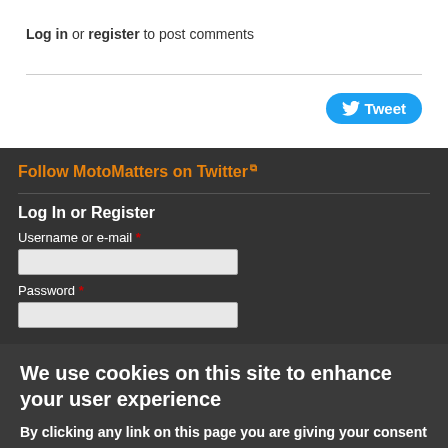Log in or register to post comments
[Figure (other): Tweet button with Twitter bird icon]
Follow MotoMatters on Twitter (external link icon)
Log In or Register
Username or e-mail *
Password *
We use cookies on this site to enhance your user experience
By clicking any link on this page you are giving your consent for us to set cookies. No, give me more info
OK, I agree